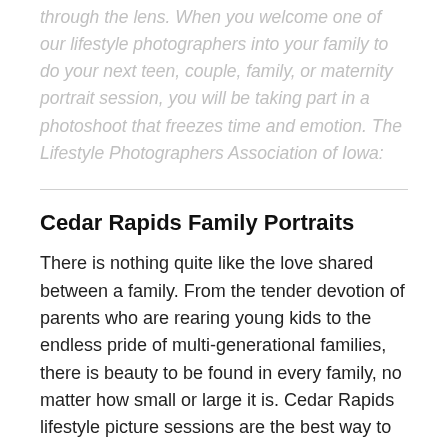through the lens. When you welcome one of our lifestyle photographers into your family to do your next teen, couple, family, or maternity portrait session, you will be taking part in a photoshoot that freezes time and emotion. The Lifestyle Photographers Association of Iowa:
Cedar Rapids Family Portraits
There is nothing quite like the love shared between a family. From the tender devotion of parents who are rearing young kids to the endless pride of multi-generational families, there is beauty to be found in every family, no matter how small or large it is. Cedar Rapids lifestyle picture sessions are the best way to showcase your life's greatest masterpiece — your family. An experienced Lifestyle Photographer can